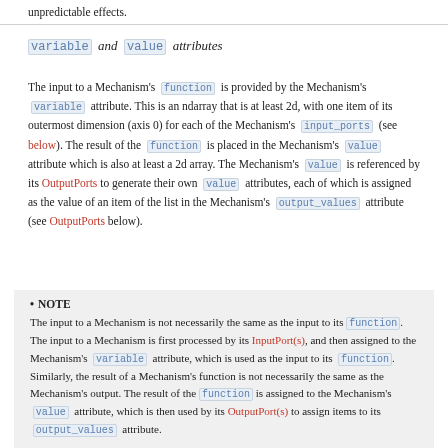unpredictable effects.
variable and value attributes
The input to a Mechanism's function is provided by the Mechanism's variable attribute. This is an ndarray that is at least 2d, with one item of its outermost dimension (axis 0) for each of the Mechanism's input_ports (see below). The result of the function is placed in the Mechanism's value attribute which is also at least a 2d array. The Mechanism's value is referenced by its OutputPorts to generate their own value attributes, each of which is assigned as the value of an item of the list in the Mechanism's output_values attribute (see OutputPorts below).
NOTE
The input to a Mechanism is not necessarily the same as the input to its function. The input to a Mechanism is first processed by its InputPort(s), and then assigned to the Mechanism's variable attribute, which is used as the input to its function. Similarly, the result of a Mechanism's function is not necessarily the same as the Mechanism's output. The result of the function is assigned to the Mechanism's value attribute, which is then used by its OutputPort(s) to assign items to its output_values attribute.